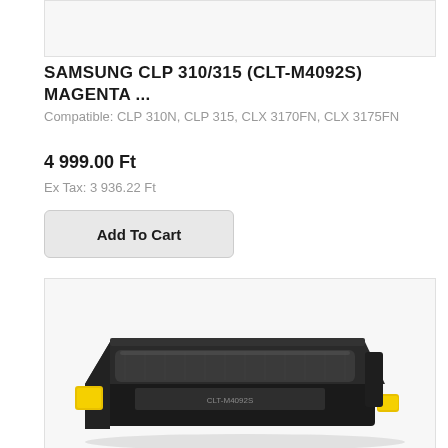[Figure (photo): Top portion of a product image (cropped), white/light grey background]
SAMSUNG CLP 310/315 (CLT-M4092S) MAGENTA ...
Compatible: CLP 310N, CLP 315, CLX 3170FN, CLX 3175FN
4 999.00 Ft
Ex Tax: 3 936.22 Ft
Add To Cart
[Figure (photo): Samsung toner cartridge (CLT-M4092S) in black with yellow accent tabs, photographed at an angle on a white background]